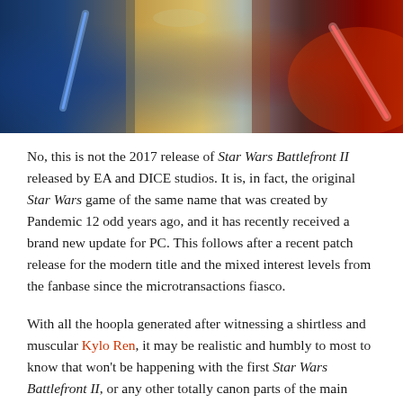[Figure (photo): Composite banner image featuring Star Wars characters including a Jedi with blue lightsaber, stormtroopers, and Darth Vader with a red lightsaber against a fiery background.]
No, this is not the 2017 release of Star Wars Battlefront II released by EA and DICE studios. It is, in fact, the original Star Wars game of the same name that was created by Pandemic 12 odd years ago, and it has recently received a brand new update for PC. This follows after a recent patch release for the modern title and the mixed interest levels from the fanbase since the microtransactions fiasco.
With all the hoopla generated after witnessing a shirtless and muscular Kylo Ren, it may be realistic and humbly to most to know that won't be happening with the first Star Wars Battlefront II, or any other totally canon parts of the main storyline.
This isn't even the first update the 2005 game has received in the past few months with one as recent as October. Though the aforementioned seems rather minuscule in comparison,